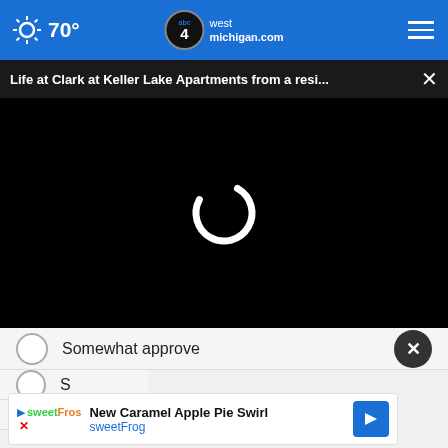70° abc4 west michigan.com
Life at Clark at Keller Lake Apartments from a resi...
[Figure (screenshot): Black video player area with loading spinner (white C-shape arc) centered on black background]
Somewhat approve
[Figure (screenshot): Ad banner: New Caramel Apple Pie Swirl - sweetFrog with navigation arrow icon]